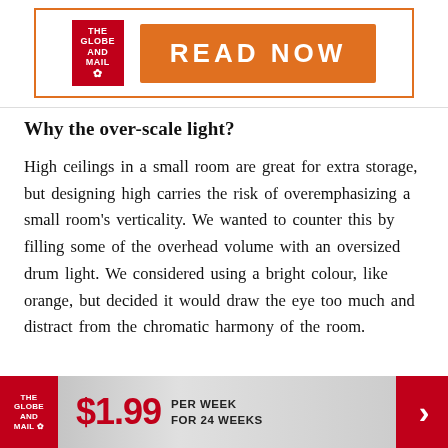[Figure (other): The Globe and Mail advertisement banner with orange 'READ NOW' button]
Why the over-scale light?
High ceilings in a small room are great for extra storage, but designing high carries the risk of overemphasizing a small room's verticality. We wanted to counter this by filling some of the overhead volume with an oversized drum light. We considered using a bright colour, like orange, but decided it would draw the eye too much and distract from the chromatic harmony of the room.
[Figure (other): The Globe and Mail subscription banner: $1.99 per week for 24 weeks with red arrow]